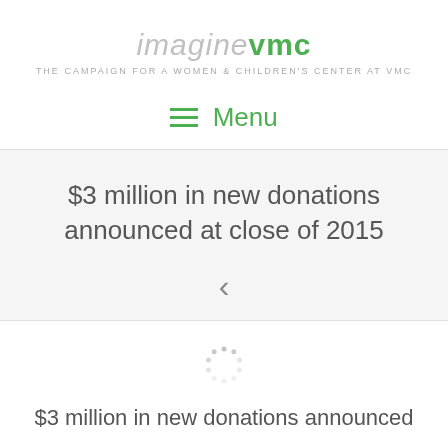imaginevmc — THE CAMPAIGN FOR A WOMEN & CHILDREN'S CENTER AT VMC
≡ Menu
$3 million in new donations announced at close of 2015
<
[Figure (other): Loading spinner icon]
$3 million in new donations announced